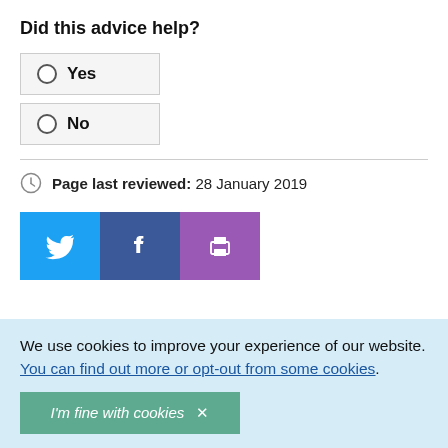Did this advice help?
Yes
No
Page last reviewed: 28 January 2019
[Figure (other): Social sharing buttons: Twitter (blue), Facebook (dark blue), Print (purple)]
We use cookies to improve your experience of our website. You can find out more or opt-out from some cookies.
I'm fine with cookies ✕